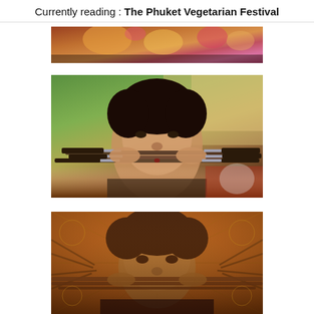Currently reading : The Phuket Vegetarian Festival
[Figure (photo): Partial view of colorful costumes or decorations from the Phuket Vegetarian Festival, cropped at top of page]
[Figure (photo): Young boy with multiple swords/blades pierced through his cheeks during the Phuket Vegetarian Festival ritual]
[Figure (photo): Man with multiple needles or rods pierced through his cheeks against an ornate orange/golden background during the Phuket Vegetarian Festival]